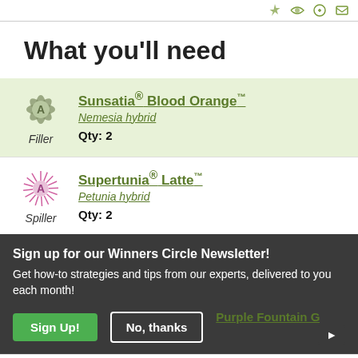What you'll need
Sunsatia® Blood Orange™ Nemesia hybrid Filler Qty: 2
Supertunia® Latte™ Petunia hybrid Spiller Qty: 2
[Figure (infographic): Newsletter sign-up overlay on dark background with 'Sign Up!' green button and 'No, thanks' outlined button]
Purple Fountain Grass Pennisetum setaceum 'Rubrum' Thriller Qty: 1